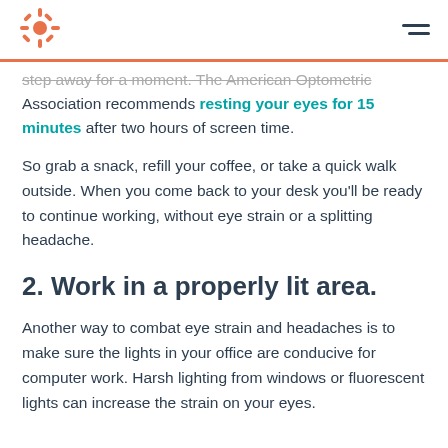HubSpot logo and navigation menu
step away for a moment. The American Optometric Association recommends resting your eyes for 15 minutes after two hours of screen time.
So grab a snack, refill your coffee, or take a quick walk outside. When you come back to your desk you'll be ready to continue working, without eye strain or a splitting headache.
2. Work in a properly lit area.
Another way to combat eye strain and headaches is to make sure the lights in your office are conducive for computer work. Harsh lighting from windows or fluorescent lights can increase the strain on your eyes.